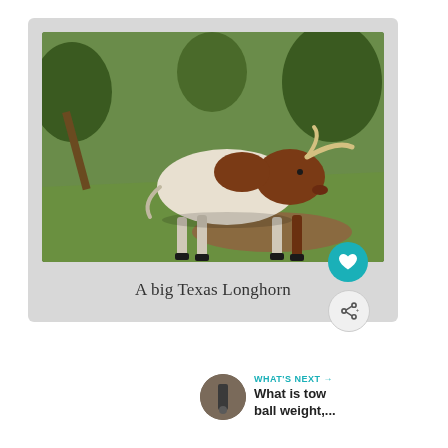[Figure (photo): A Texas Longhorn cattle (white with brown patches) walking on green grass in a park-like setting with trees in the background]
A big Texas Longhorn
WHAT'S NEXT → What is tow ball weight,...